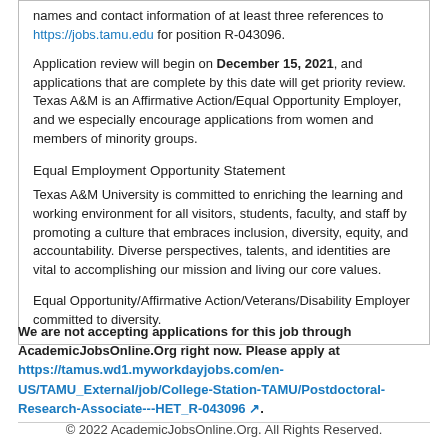names and contact information of at least three references to https://jobs.tamu.edu for position R-043096. Application review will begin on December 15, 2021, and applications that are complete by this date will get priority review. Texas A&M is an Affirmative Action/Equal Opportunity Employer, and we especially encourage applications from women and members of minority groups.
Equal Employment Opportunity Statement
Texas A&M University is committed to enriching the learning and working environment for all visitors, students, faculty, and staff by promoting a culture that embraces inclusion, diversity, equity, and accountability. Diverse perspectives, talents, and identities are vital to accomplishing our mission and living our core values.
Equal Opportunity/Affirmative Action/Veterans/Disability Employer committed to diversity.
We are not accepting applications for this job through AcademicJobsOnline.Org right now. Please apply at https://tamus.wd1.myworkdayjobs.com/en-US/TAMU_External/job/College-Station-TAMU/Postdoctoral-Research-Associate---HET_R-043096.
© 2022 AcademicJobsOnline.Org. All Rights Reserved.